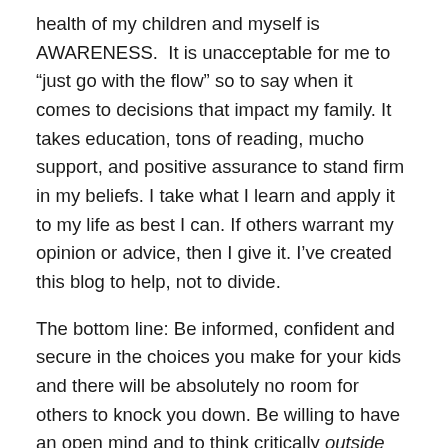health of my children and myself is AWARENESS. It is unacceptable for me to “just go with the flow” so to say when it comes to decisions that impact my family. It takes education, tons of reading, mucho support, and positive assurance to stand firm in my beliefs. I take what I learn and apply it to my life as best I can. If others warrant my opinion or advice, then I give it. I’ve created this blog to help, not to divide.
The bottom line: Be informed, confident and secure in the choices you make for your kids and there will be absolutely no room for others to knock you down. Be willing to have an open mind and to think critically outside that big old box.
I can only hope that sometime soon we see motherhood as a journey we’re all facing together.